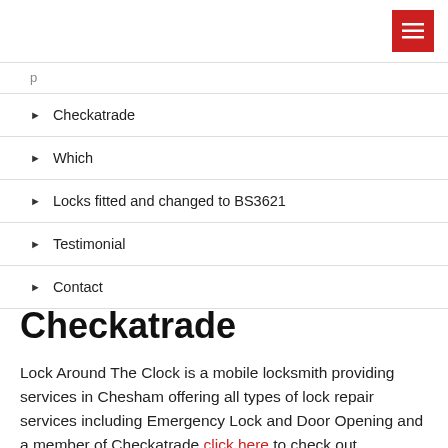Checkatrade
Which
Locks fitted and changed to BS3621
Testimonial
Contact
Checkatrade
Lock Around The Clock is a mobile locksmith providing services in Chesham offering all types of lock repair services including Emergency Lock and Door Opening and a member of Checkatrade click here to check out